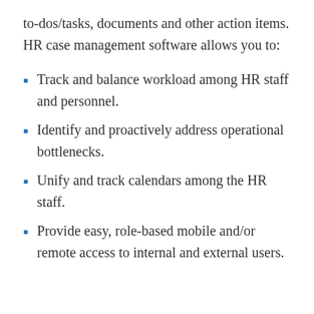to-dos/tasks, documents and other action items. HR case management software allows you to:
Track and balance workload among HR staff and personnel.
Identify and proactively address operational bottlenecks.
Unify and track calendars among the HR staff.
Provide easy, role-based mobile and/or remote access to internal and external users.